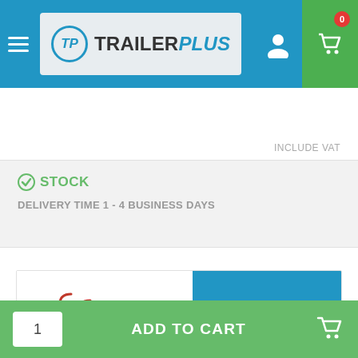TRAILER PLUS
INCLUDE VAT
STOCK
DELIVERY TIME 1 - 4 BUSINESS DAYS
[Figure (logo): AceBikes Innovative Equipment logo]
COMBO DEAL
[Figure (photo): Product image partially visible]
1  ADD TO CART